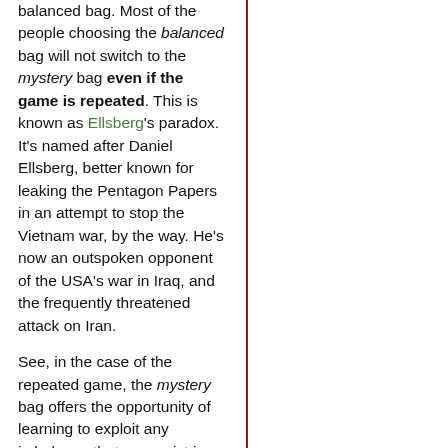balanced bag. Most of the people choosing the balanced bag will not switch to the mystery bag even if the game is repeated. This is known as Ellsberg's paradox. It's named after Daniel Ellsberg, better known for leaking the Pentagon Papers in an attempt to stop the Vietnam war, by the way. He's now an outspoken opponent of the USA's war in Iraq, and the frequently threatened attack on Iran.

See, in the case of the repeated game, the mystery bag offers the opportunity of learning to exploit any imbalance that may exist in the proportion of token colours, but in the balanced case you're always stuck at 50% and can never improve upon it. Ellsberg's paradox